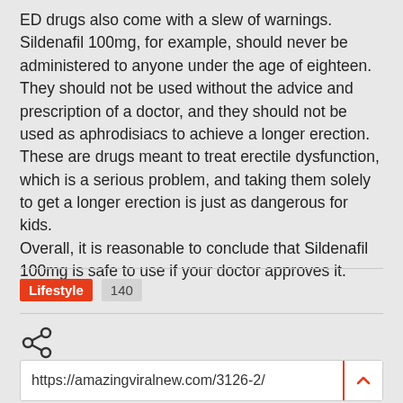ED drugs also come with a slew of warnings. Sildenafil 100mg, for example, should never be administered to anyone under the age of eighteen.
They should not be used without the advice and prescription of a doctor, and they should not be used as aphrodisiacs to achieve a longer erection.
These are drugs meant to treat erectile dysfunction, which is a serious problem, and taking them solely to get a longer erection is just as dangerous for kids.
Overall, it is reasonable to conclude that Sildenafil 100mg is safe to use if your doctor approves it.
Lifestyle  140
[Figure (other): Share icon (social share button)]
https://amazingviralnew.com/3126-2/